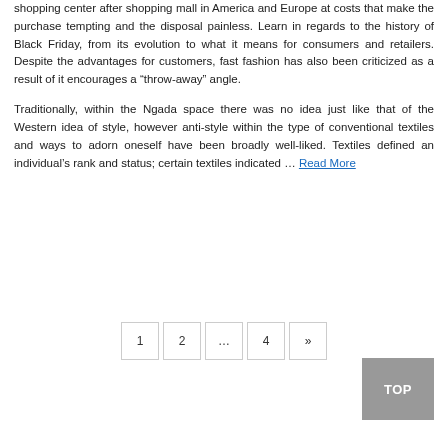shopping center after shopping mall in America and Europe at costs that make the purchase tempting and the disposal painless. Learn in regards to the history of Black Friday, from its evolution to what it means for consumers and retailers. Despite the advantages for customers, fast fashion has also been criticized as a result of it encourages a “throw-away” angle.
Traditionally, within the Ngada space there was no idea just like that of the Western idea of style, however anti-style within the type of conventional textiles and ways to adorn oneself have been broadly well-liked. Textiles defined an individual’s rank and status; certain textiles indicated … Read More
1 2 … 4 »